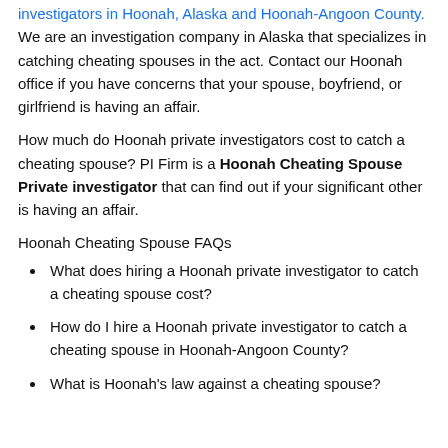investigators in Hoonah, Alaska and Hoonah-Angoon County. We are an investigation company in Alaska that specializes in catching cheating spouses in the act. Contact our Hoonah office if you have concerns that your spouse, boyfriend, or girlfriend is having an affair.
How much do Hoonah private investigators cost to catch a cheating spouse? PI Firm is a Hoonah Cheating Spouse Private investigator that can find out if your significant other is having an affair.
Hoonah Cheating Spouse FAQs
What does hiring a Hoonah private investigator to catch a cheating spouse cost?
How do I hire a Hoonah private investigator to catch a cheating spouse in Hoonah-Angoon County?
What is Hoonah's law against a cheating spouse?